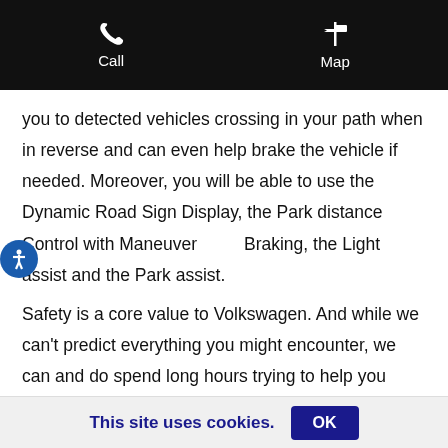Call   Map
you to detected vehicles crossing in your path when in reverse and can even help brake the vehicle if needed. Moreover, you will be able to use the Dynamic Road Sign Display, the Park distance Control with Maneuver Braking, the Light assist and the Park assist.
Safety is a core value to Volkswagen. And while we can't predict everything you might encounter, we can and do spend long hours trying to help you prepare for it. That is why you will discover a lot of other security technologies aboard the Atlas 2022. To
This site uses cookies.